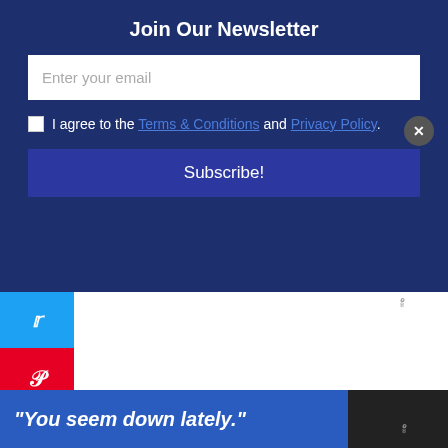Join Our Newsletter
Enter your email
I agree to the Terms & Conditions and Privacy Policy.
Subscribe!
[Figure (screenshot): Twitter social share button (blue)]
[Figure (screenshot): Pinterest social share button (red)]
0
SHARES
Bella's nails were done in her choice of color.
[Figure (photo): Photo of a child getting their hair braided in a colorful room]
“You seem down lately.”